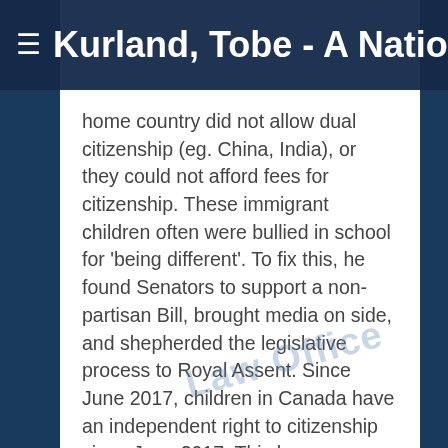Kurland, Tobe - A National Law Office
home country did not allow dual citizenship (eg. China, India), or they could not afford fees for citizenship. These immigrant children often were bullied in school for 'being different'. To fix this, he found Senators to support a non-partisan Bill, brought media on side, and shepherded the legislative process to Royal Assent. Since June 2017, children in Canada have an independent right to citizenship since June 2017. This has benefitted over 6000 children, so far.